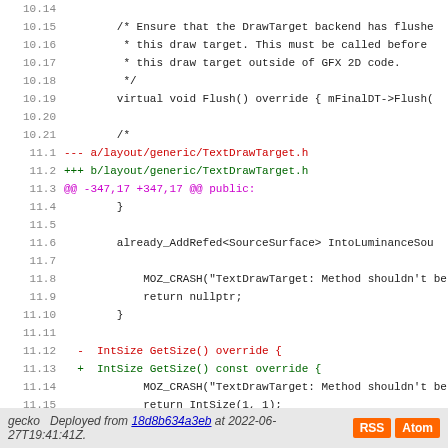[Figure (screenshot): Code diff view showing changes to DrawTarget and TextDrawTarget C++ header files with line numbers, colored additions/deletions]
gecko  Deployed from 18d8b634a3eb at 2022-06-27T19:41:41Z.  RSS  Atom